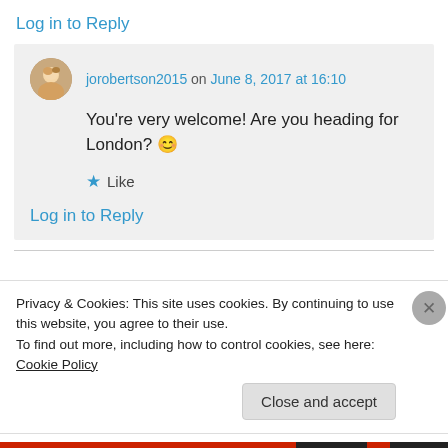Log in to Reply
jorobertson2015 on June 8, 2017 at 16:10
You're very welcome! Are you heading for London? 😊
★ Like
Log in to Reply
Privacy & Cookies: This site uses cookies. By continuing to use this website, you agree to their use.
To find out more, including how to control cookies, see here: Cookie Policy
Close and accept